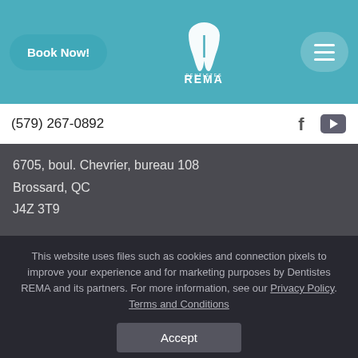Book Now! [logo: Dentistes REMA] [hamburger menu]
(579) 267-0892
6705, boul. Chevrier, bureau 108
Brossard, QC
J4Z 3T9
This website uses files such as cookies and connection pixels to improve your experience and for marketing purposes by Dentistes REMA and its partners. For more information, see our Privacy Policy. Terms and Conditions
Accept